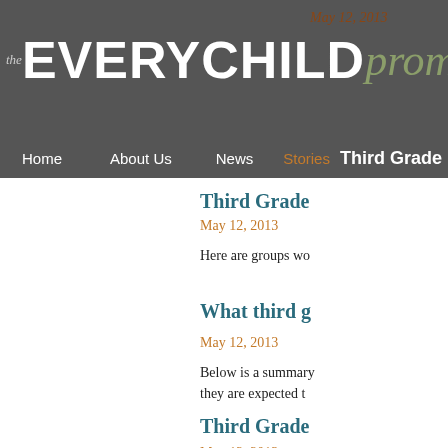May 12, 2013
[Figure (logo): The EveryChild Promise logo with stylized text]
Home   About Us   News   Stories   Third Grade
Third Grade
May 12, 2013
Here are groups wo
What third g
May 12, 2013
Below is a summary they are expected t
Third Grade
May 12, 2013
To bring you this sp